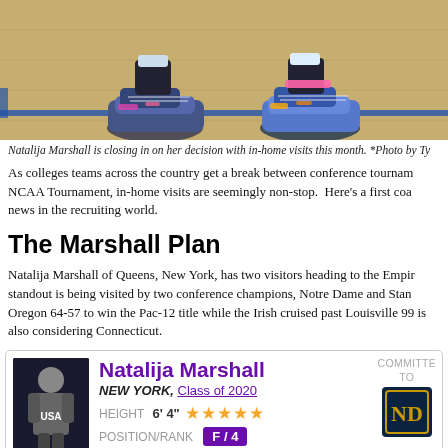[Figure (photo): Close-up photo of a basketball player's feet and sneakers on a hardwood court with blue court markings visible]
Natalija Marshall is closing in on her decision with in-home visits this month. *Photo by Ty
As colleges teams across the country get a break between conference tournam NCAA Tournament, in-home visits are seemingly non-stop. Here's a first coa news in the recruiting world.
The Marshall Plan
Natalija Marshall of Queens, New York, has two visitors heading to the Empir standout is being visited by two conference champions, Notre Dame and Stan Oregon 64-57 to win the Pac-12 title while the Irish cruised past Louisville 99 is also considering Connecticut.
[Figure (photo): Recruit profile card for Natalija Marshall showing her photo in a USA jersey, name, location (New York), Class of 2020, height 6'4", 5-star rating, position/rank F/4, and committed to Notre Dame logo]
Natalija Marshall
NEW YORK, Class of 2020
HEIGHT 6' 4"
POSITION/RANK F / 4
COMMITTED TO